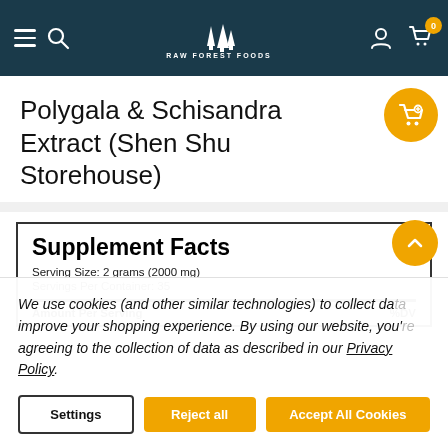RAW FOREST FOODS navigation bar with hamburger menu, search, logo, user icon, and cart (0 items)
Polygala & Schisandra Extract (Shen Shu Storehouse)
[Figure (other): Add to cart floating button (orange circle with cart icon)]
| Amount Per Serving | %DV |
| --- | --- |
We use cookies (and other similar technologies) to collect data to improve your shopping experience. By using our website, you're agreeing to the collection of data as described in our Privacy Policy.
Settings | Reject all | Accept All Cookies